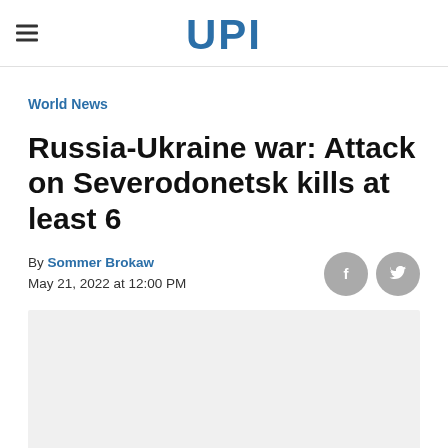UPI
World News
Russia-Ukraine war: Attack on Severodonetsk kills at least 6
By Sommer Brokaw
May 21, 2022 at 12:00 PM
[Figure (photo): Gray placeholder image area below the byline]